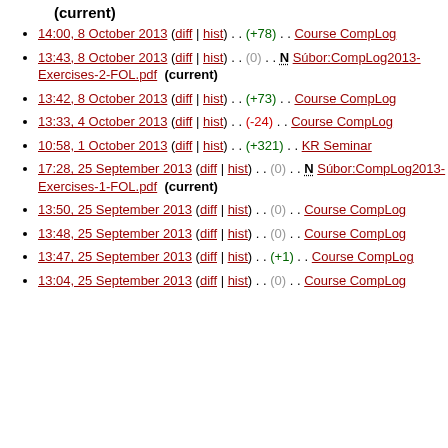(current)
14:00, 8 October 2013 (diff | hist) . . (+78) . . Course CompLog
13:43, 8 October 2013 (diff | hist) . . (0) . . N Súbor:CompLog2013-Exercises-2-FOL.pdf (current)
13:42, 8 October 2013 (diff | hist) . . (+73) . . Course CompLog
13:33, 4 October 2013 (diff | hist) . . (-24) . . Course CompLog
10:58, 1 October 2013 (diff | hist) . . (+321) . . KR Seminar
17:28, 25 September 2013 (diff | hist) . . (0) . . N Súbor:CompLog2013-Exercises-1-FOL.pdf (current)
13:50, 25 September 2013 (diff | hist) . . (0) . . Course CompLog
13:48, 25 September 2013 (diff | hist) . . (0) . . Course CompLog
13:47, 25 September 2013 (diff | hist) . . (+1) . . Course CompLog
13:04, 25 September 2013 (diff | hist) . . (0) . . Course CompLog